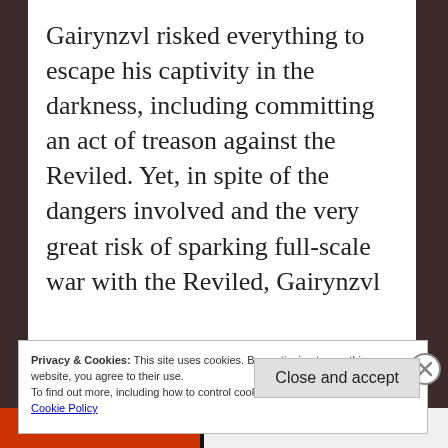Gairynzvl risked everything to escape his captivity in the darkness, including committing an act of treason against the Reviled. Yet, in spite of the dangers involved and the very great risk of sparking full-scale war with the Reviled, Gairynzvl
Privacy & Cookies: This site uses cookies. By continuing to use this website, you agree to their use.
To find out more, including how to control cookies, see here:
Cookie Policy
Close and accept
All-In-One Free App
DuckDuckGo